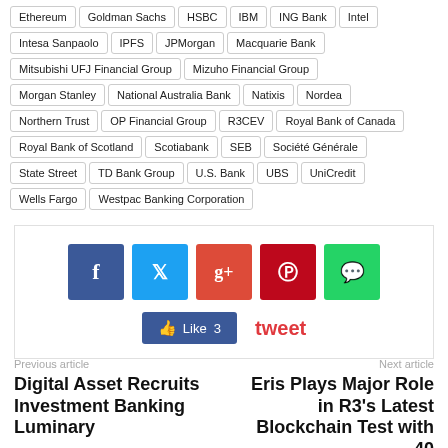Ethereum
Goldman Sachs
HSBC
IBM
ING Bank
Intel
Intesa Sanpaolo
IPFS
JPMorgan
Macquarie Bank
Mitsubishi UFJ Financial Group
Mizuho Financial Group
Morgan Stanley
National Australia Bank
Natixis
Nordea
Northern Trust
OP Financial Group
R3CEV
Royal Bank of Canada
Royal Bank of Scotland
Scotiabank
SEB
Société Générale
State Street
TD Bank Group
U.S. Bank
UBS
UniCredit
Wells Fargo
Westpac Banking Corporation
[Figure (infographic): Social share buttons: Facebook (blue), Twitter (light blue), Google+ (red-orange), Pinterest (dark red), WhatsApp (green), with Facebook Like count of 3 and a tweet link in red]
Previous article
Digital Asset Recruits Investment Banking Luminary
Next article
Eris Plays Major Role in R3's Latest Blockchain Test with 40